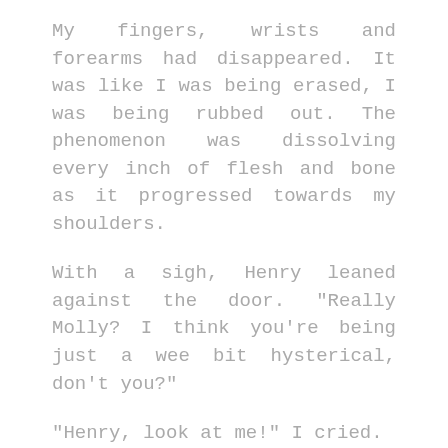My fingers, wrists and forearms had disappeared. It was like I was being erased, I was being rubbed out. The phenomenon was dissolving every inch of flesh and bone as it progressed towards my shoulders.
With a sigh, Henry leaned against the door. "Really Molly? I think you're being just a wee bit hysterical, don't you?"
"Henry, look at me!" I cried.
"Seriously, Molly," he said, frowning.
"Can't you see? Henry, I'm disappearing, I am going to vanish!"
He sighed heavily and went over to the sink. "Please